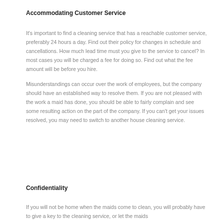Accommodating Customer Service
It’s important to find a cleaning service that has a reachable customer service, preferably 24 hours a day. Find out their policy for changes in schedule and cancellations. How much lead time must you give to the service to cancel? In most cases you will be charged a fee for doing so. Find out what the fee amount will be before you hire.
Misunderstandings can occur over the work of employees, but the company should have an established way to resolve them. If you are not pleased with the work a maid has done, you should be able to fairly complain and see some resulting action on the part of the company. If you can’t get your issues resolved, you may need to switch to another house cleaning service.
Confidentiality
If you will not be home when the maids come to clean, you will probably have to give a key to the cleaning service, or let the maids